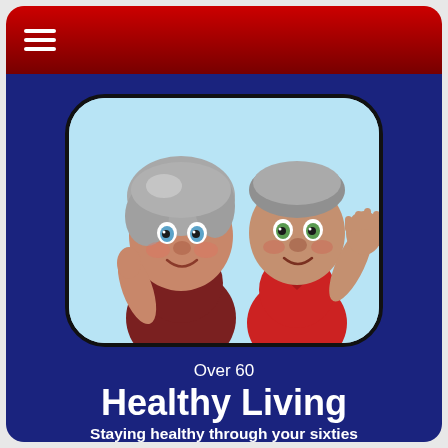☰ (hamburger menu icon)
[Figure (illustration): Cartoon 3D illustration of two elderly characters with grey hair against a light blue background. On the left is a woman in a dark red/maroon top with her hand near her face. On the right is a man in a red polo shirt waving with his right hand raised.]
Over 60
Healthy Living
Staying healthy through your sixties